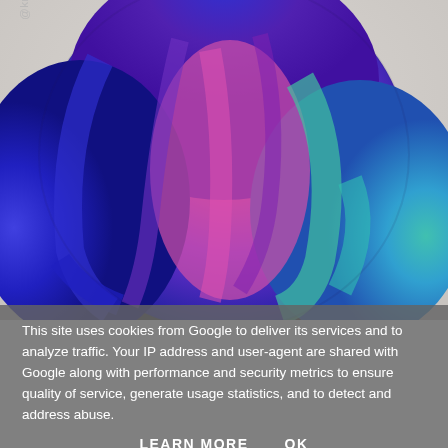[Figure (photo): Back-of-head photo showing vibrant multi-colored hair dye with blue, purple, pink, and teal highlights styled in waves. Watermark '@kristi.coleman' visible on the left side.]
This site uses cookies from Google to deliver its services and to analyze traffic. Your IP address and user-agent are shared with Google along with performance and security metrics to ensure quality of service, generate usage statistics, and to detect and address abuse.
LEARN MORE    OK